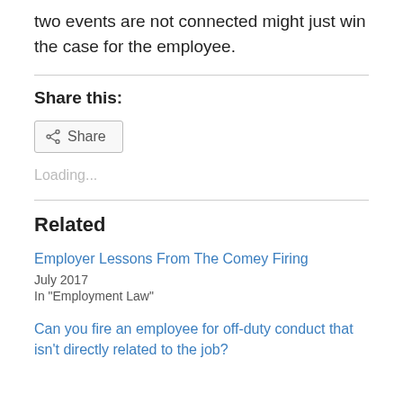two events are not connected might just win the case for the employee.
Share this:
[Figure (other): Share button with share icon]
Loading...
Related
Employer Lessons From The Comey Firing
July 2017
In "Employment Law"
Can you fire an employee for off-duty conduct that isn't directly related to the job?